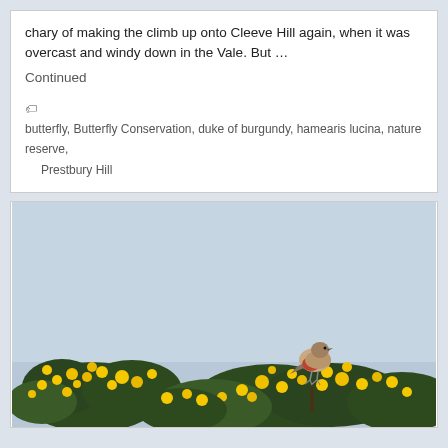chary of making the climb up onto Cleeve Hill again, when it was overcast and windy down in the Vale. But … Continued
butterfly, Butterfly Conservation, duke of burgundy, hamearis lucina, nature reserve, Prestbury Hill
[Figure (photo): A small bird with a reddish-pink breast perched on top of a gorse bush covered in bright yellow flowers, against a pale grey-blue sky background.]